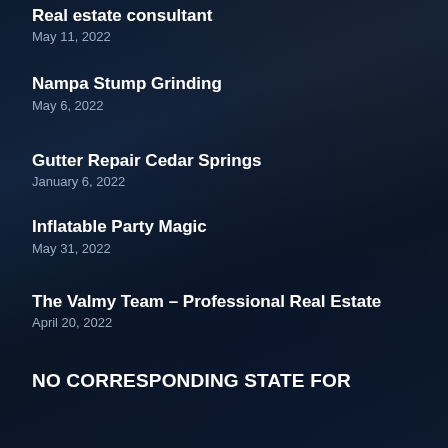Real estate consultant
May 11, 2022
Nampa Stump Grinding
May 6, 2022
Gutter Repair Cedar Springs
January 6, 2022
Inflatable Party Magic
May 31, 2022
The Valmy Team – Professional Real Estate
April 20, 2022
NO CORRESPONDING STATE FOR